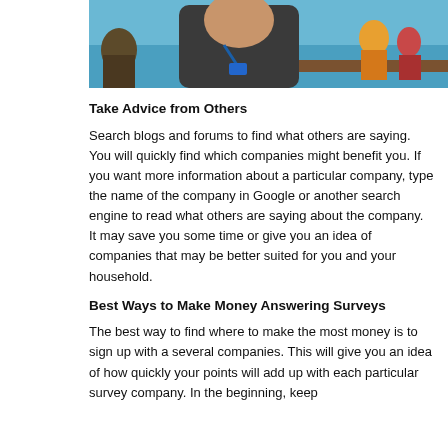[Figure (photo): A young man wearing a black tank top and lanyard, taking a selfie near a pool or water park setting with colorful characters/people in the background.]
Take Advice from Others
Search blogs and forums to find what others are saying. You will quickly find which companies might benefit you. If you want more information about a particular company, type the name of the company in Google or another search engine to read what others are saying about the company. It may save you some time or give you an idea of companies that may be better suited for you and your household.
Best Ways to Make Money Answering Surveys
The best way to find where to make the most money is to sign up with a several companies. This will give you an idea of how quickly your points will add up with each particular survey company. In the beginning, keep